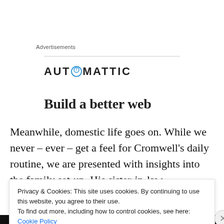Advertisements
[Figure (logo): Automattic logo with stylized compass/circle replacing the letter O, followed by text 'AUTⓄMATTIC']
Build a better web
Meanwhile, domestic life goes on. While we never – ever – get a feel for Cromwell’s daily routine, we are presented with insights into the family set-up. His sister-in-law
Privacy & Cookies: This site uses cookies. By continuing to use this website, you agree to their use.
To find out more, including how to control cookies, see here: Cookie Policy
Close and accept